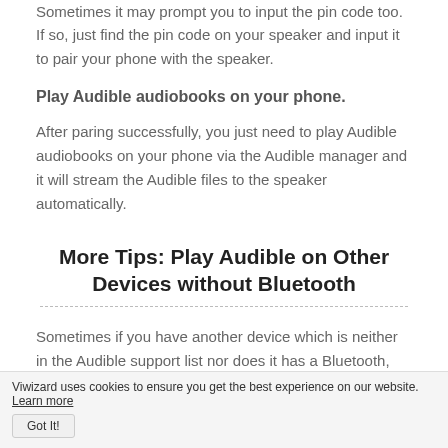Sometimes it may prompt you to input the pin code too. If so, just find the pin code on your speaker and input it to pair your phone with the speaker.
Play Audible audiobooks on your phone.
After paring successfully, you just need to play Audible audiobooks on your phone via the Audible manager and it will stream the Audible files to the speaker automatically.
More Tips: Play Audible on Other Devices without Bluetooth
Sometimes if you have another device which is neither in the Audible support list nor does it has a Bluetooth, you
Viwizard uses cookies to ensure you get the best experience on our website. Learn more Got It!